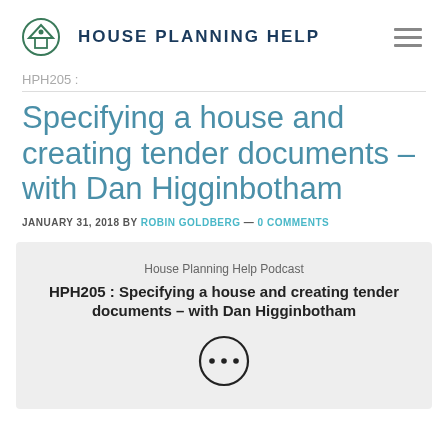House Planning Help
HPH205 :
Specifying a house and creating tender documents – with Dan Higginbotham
JANUARY 31, 2018 BY ROBIN GOLDBERG — 0 COMMENTS
[Figure (screenshot): Embedded podcast player showing 'House Planning Help Podcast' with title 'HPH205 : Specifying a house and creating tender documents – with Dan Higginbotham' and a circular play/menu button with three dots]